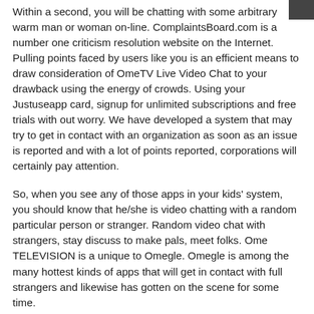Within a second, you will be chatting with some arbitrary warm man or woman on-line. ComplaintsBoard.com is a number one criticism resolution website on the Internet. Pulling points faced by users like you is an efficient means to draw consideration of OmeTV Live Video Chat to your drawback using the energy of crowds. Using your Justuseapp card, signup for unlimited subscriptions and free trials with out worry. We have developed a system that may try to get in contact with an organization as soon as an issue is reported and with a lot of points reported, corporations will certainly pay attention.
So, when you see any of those apps in your kids' system, you should know that he/she is video chatting with a random particular person or stranger. Random video chat with strangers, stay discuss to make pals, meet folks. Ome TELEVISION is a unique to Omegle. Omegle is among the many hottest kinds of apps that will get in contact with full strangers and likewise has gotten on the scene for some time.
We test all the top-rated paid apps & cellular games to save heaps of you cash. I was banned as quickly as right now for leaving my display screen facing my laptop computer whereas I received away from bed. And now I really have been banned for ingesting my water whereas I lay here within the hospital bed. I want to appeal this ban because I even have reviewed rhe guidelines and decided I have not damaged any of OmeTV guidelines.